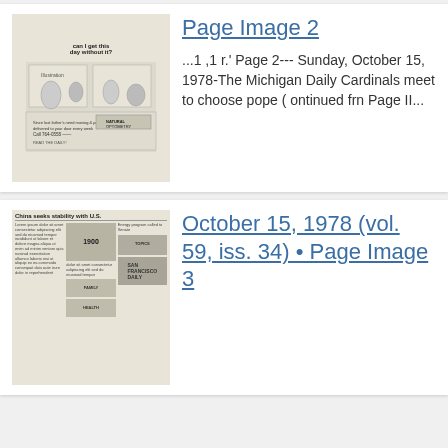[Figure (photo): Thumbnail of a newspaper page image showing an advertisement with cartoon/illustration figures, text 'can I get this day without it?', and contact information.]
Page Image 2
...1 ,1 r.' Page 2--- Sunday, October 15, 1978-The Michigan Daily Cardinals meet to choose pope ( ontinued frn Page II...
[Figure (photo): Thumbnail of a newspaper front page with headline 'China seeks stability with U.S.' and various columns of text and advertisements including a '1900' advertisement block.]
October 15, 1978 (vol. 59, iss. 34) • Page Image 3